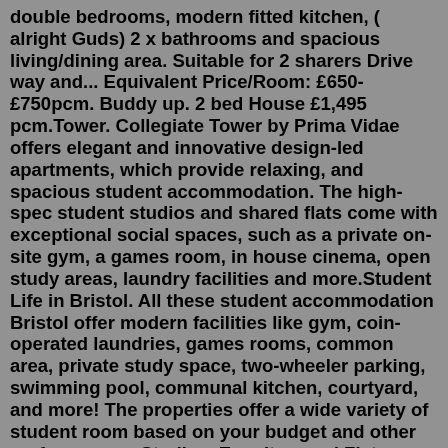double bedrooms, modern fitted kitchen, ( alright Guds) 2 x bathrooms and spacious living/dining area. Suitable for 2 sharers Drive way and... Equivalent Price/Room: £650-£750pcm. Buddy up. 2 bed House £1,495 pcm.Tower. Collegiate Tower by Prima Vidae offers elegant and innovative design-led apartments, which provide relaxing, and spacious student accommodation. The high-spec student studios and shared flats come with exceptional social spaces, such as a private on-site gym, a games room, in house cinema, open study areas, laundry facilities and more.Student Life in Bristol. All these student accommodation Bristol offer modern facilities like gym, coin-operated laundries, games rooms, common area, private study space, two-wheeler parking, swimming pool, communal kitchen, courtyard, and more! The properties offer a wide variety of student room based on your budget and other preferences ... Studios, Ensuites, and Flats are among the room options available. Wi-Fi, all-inclusive bills, on-site laundry, common spaces, bike storage, and 24 hour